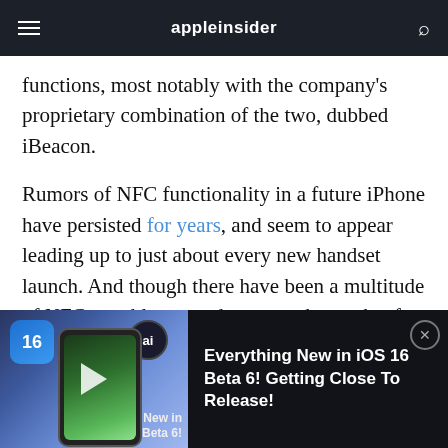appleinsider
functions, most notably with the company's proprietary combination of the two, dubbed iBeacon.
Rumors of NFC functionality in a future iPhone have persisted for years, and seem to appear leading up to just about every new handset launch. And though there have been a multitude of NFC-capable smartphones on the market for years, has never been an Apple product with
[Figure (screenshot): Video ad banner at the bottom of the screen for 'Everything New in iOS 16 Beta 6! Getting Close To Release!' with an iOS 16 logo, a phone showing a colorful screen, and a close button.]